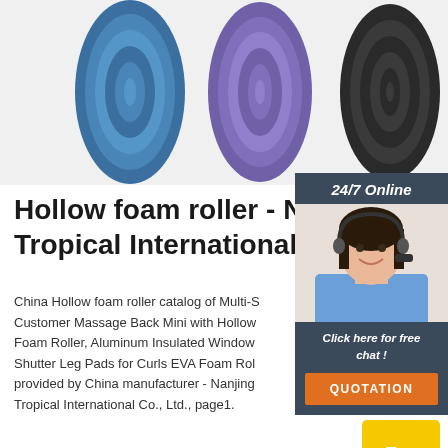[Figure (photo): Rolled foam yoga/exercise mats in blue, purple, and black colors, photographed from the end showing the circular cross sections]
Hollow foam roller - Nanjing Tropical International Co
China Hollow foam roller catalog of Multi-S Customer Massage Back Mini with Hollow Foam Roller, Aluminum Insulated Window Shutter Leg Pads for Curls EVA Foam Rol provided by China manufacturer - Nanjing Tropical International Co., Ltd., page1.
[Figure (photo): Customer service agent - woman with headset smiling, inset in a dark blue sidebar widget showing 24/7 Online service with Click here for free chat and QUOTATION button]
Get Price
Top